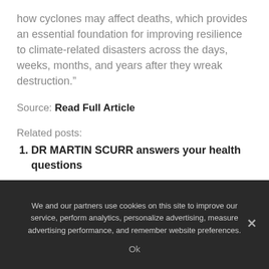how cyclones may affect deaths, which provides an essential foundation for improving resilience to climate-related disasters across the days, weeks, months, and years after they wreak destruction.”
Source: Read Full Article
Related posts:
DR MARTIN SCURR answers your health questions
Bowel cancer: The breakfast you should avoid to lower your risk of the deadly condition
We and our partners use cookies on this site to improve our service, perform analytics, personalize advertising, measure advertising performance, and remember website preferences.
Ok